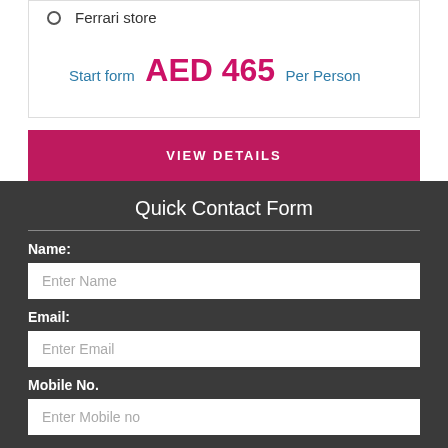Ferrari store
Start form AED 465 Per Person
VIEW DETAILS
Quick Contact Form
Name:
Enter Name
Email:
Enter Email
Mobile No.
Enter Mobile no